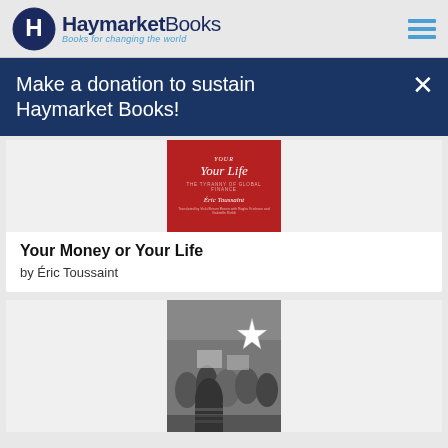[Figure (logo): Haymarket Books logo with circular H icon and tagline 'Books for changing the world']
Make a donation to sustain Haymarket Books!
[Figure (photo): Book cover: Your Life - The Tyranny of Global Finance by Eric Toussaint, red cover]
Your Money or Your Life
by Éric Toussaint
[Figure (photo): Black and white photo of protesters holding signs and a star, crowd scene]